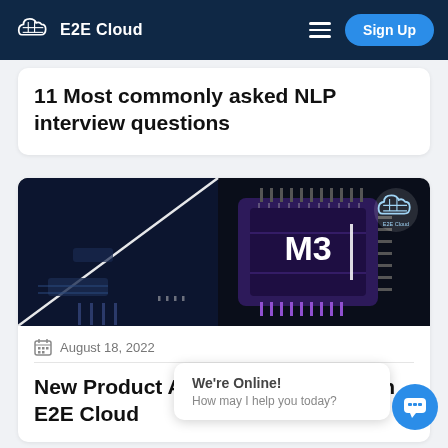E2E Cloud
11 Most commonly asked NLP interview questions
[Figure (illustration): Dark-themed illustration of a purple circuit chip labeled M3 on a dark blue background with the E2E Cloud logo watermark in the top-right corner]
August 18, 2022
New Product Alert!! C3/M3 series on E2E Cloud